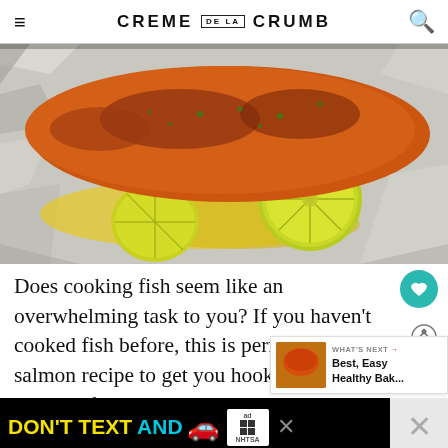CREME DE LA CRUMB
[Figure (photo): Close-up photo of baked salmon fillet in foil with lime slices and herbs, with buttery juices]
Does cooking fish seem like an overwhelming task to you? If you haven't cooked fish before, this is perfect baked salmon recipe to get you hooked on cooking fish! It's as simple and easy as it could possibly be, yet so, SO incredibly tasty.
[Figure (infographic): WHAT'S NEXT widget showing Best, Easy Healthy Bak... article with food thumbnail]
[Figure (infographic): Advertisement banner: DON'T TEXT AND DRIVE - NHTSA ad with car emoji and ad badge]